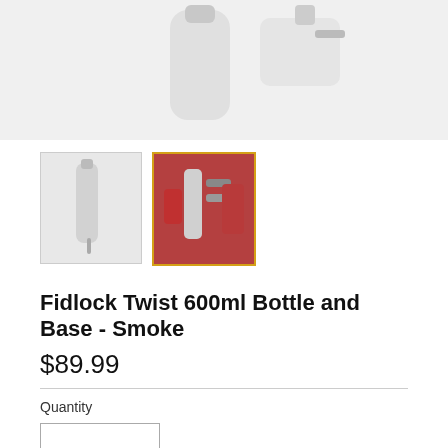[Figure (photo): Main product image showing a smoke/translucent water bottle and base mount on a light gray background]
[Figure (photo): Thumbnail 1: smoke/clear water bottle with cap and straw component on white background]
[Figure (photo): Thumbnail 2: silver/aluminum bottle mounted on red bicycle frame, outdoors]
Fidlock Twist 600ml Bottle and Base - Smoke
$89.99
Quantity
1
ADD TO CART